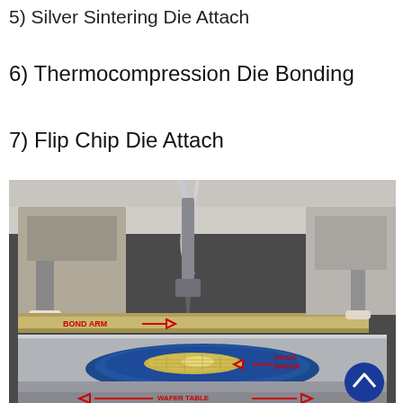5) Silver Sintering Die Attach
6) Thermocompression Die Bonding
7) Flip Chip Die Attach
[Figure (photo): Photograph of a die attach / flip chip bonding machine showing a bond arm labeled 'BOND ARM' with an arrow pointing right, a diced wafer on a blue circular chuck labeled 'DICED WAFER' with an arrow pointing left, and a wafer table labeled 'WAFER TABLE' with arrows pointing left and right. The machine has metallic components, tubing, and a blue scroll-up button in the lower right corner.]